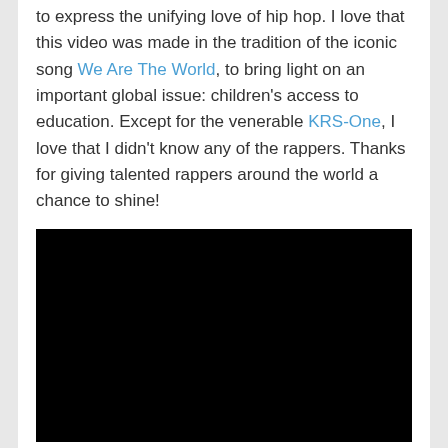to express the unifying love of hip hop. I love that this video was made in the tradition of the iconic song We Are The World, to bring light on an important global issue: children's access to education. Except for the venerable KRS-One, I love that I didn't know any of the rappers. Thanks for giving talented rappers around the world a chance to shine!
[Figure (other): Embedded video player showing a black screen]
Now, I ask…where are the women? I was quickly disappointed to see that out of 14 rappers, there was only one woman, YACKO from Indonesia. Why does this bother me? While every rapper in that video is talented and